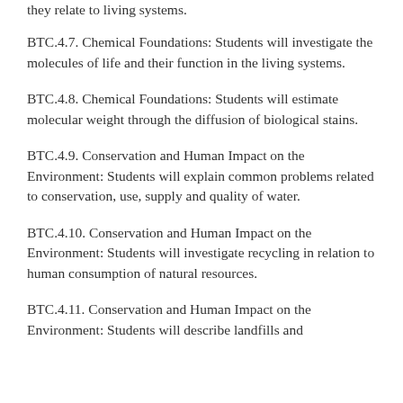they relate to living systems.
BTC.4.7. Chemical Foundations: Students will investigate the molecules of life and their function in the living systems.
BTC.4.8. Chemical Foundations: Students will estimate molecular weight through the diffusion of biological stains.
BTC.4.9. Conservation and Human Impact on the Environment: Students will explain common problems related to conservation, use, supply and quality of water.
BTC.4.10. Conservation and Human Impact on the Environment: Students will investigate recycling in relation to human consumption of natural resources.
BTC.4.11. Conservation and Human Impact on the Environment: Students will describe landfills and